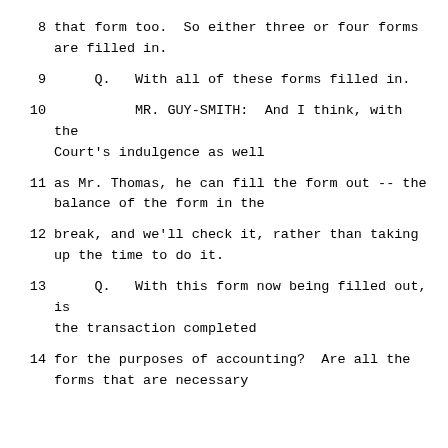8    that form too.  So either three or four forms are filled in.
9         Q.   With all of these forms filled in.
10              MR. GUY-SMITH:  And I think, with the Court's indulgence as well
11    as Mr. Thomas, he can fill the form out -- the balance of the form in the
12    break, and we'll check it, rather than taking up the time to do it.
13         Q.   With this form now being filled out, is the transaction completed
14    for the purposes of accounting?  Are all the forms that are necessary